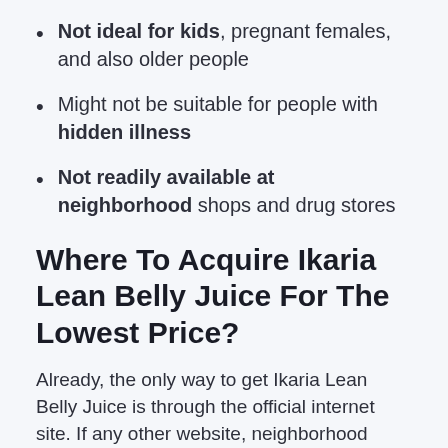Not ideal for kids, pregnant females, and also older people
Might not be suitable for people with hidden illness
Not readily available at neighborhood shops and drug stores
Where To Acquire Ikaria Lean Belly Juice For The Lowest Price?
Already, the only way to get Ikaria Lean Belly Juice is through the official internet site. If any other website, neighborhood shop, or person offers you